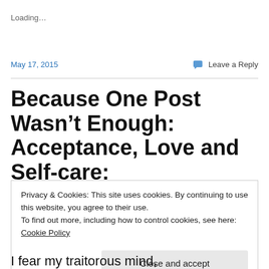Loading...
May 17, 2015
Leave a Reply
Because One Post Wasn't Enough: Acceptance, Love and Self-care:
Privacy & Cookies: This site uses cookies. By continuing to use this website, you agree to their use.
To find out more, including how to control cookies, see here: Cookie Policy
Close and accept
I fear my traitorous mind,